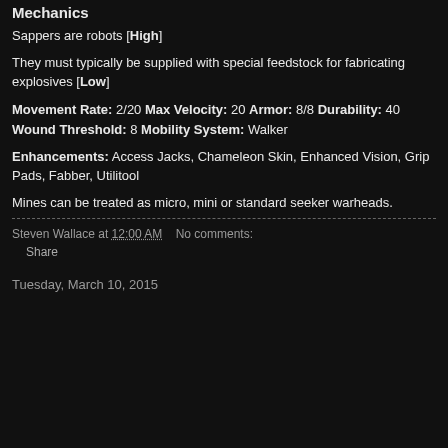Mechanics
Sappers are robots [High]
They must typically be supplied with special feedstock for fabricating explosives [Low]
Movement Rate: 2/20 Max Velocity: 20 Armor: 8/8 Durability: 40 Wound Threshold: 8 Mobility System: Walker
Enhancements: Access Jacks, Chameleon Skin, Enhanced Vision, Grip Pads, Fabber, Utilitool
Mines can be treated as micro, mini or standard seeker warheads.
Steven Wallace at 12:00 AM   No comments:
Share
Tuesday, March 10, 2015